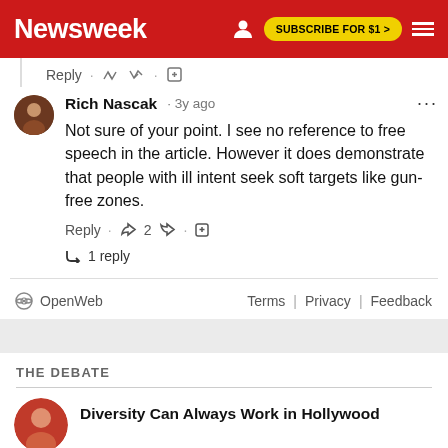Newsweek | SUBSCRIBE FOR $1 >
Reply
Rich Nascak · 3y ago
Not sure of your point. I see no reference to free speech in the article. However it does demonstrate that people with ill intent seek soft targets like gun-free zones.
Reply · 👍 2 👎 · ⬆
↩ 1 reply
OpenWeb   Terms | Privacy | Feedback
THE DEBATE
Diversity Can Always Work in Hollywood